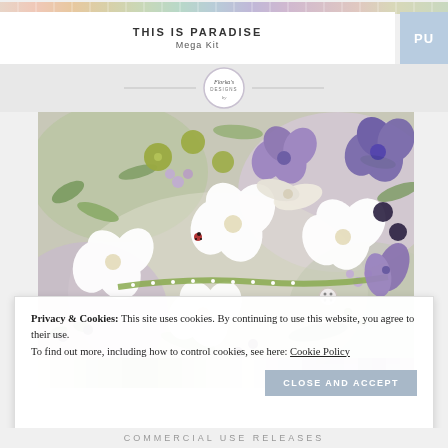[Figure (illustration): Color swatch strip at the top of the page showing pastel rainbow swatches]
THIS IS PARADISE
Mega Kit
PU
[Figure (logo): Florika's Designs circular logo/brand stamp in center of header]
[Figure (photo): Product preview image: floral collage with white, purple/lavender flowers, green olive branches, dark olives, purple flowers, ribbons, and buttons on a mixed pastel background]
[Figure (illustration): Color swatch strip at the bottom of the product image showing greens, purples, and neutrals]
Privacy & Cookies: This site uses cookies. By continuing to use this website, you agree to their use.
To find out more, including how to control cookies, see here: Cookie Policy
CLOSE AND ACCEPT
COMMERCIAL USE RELEASES